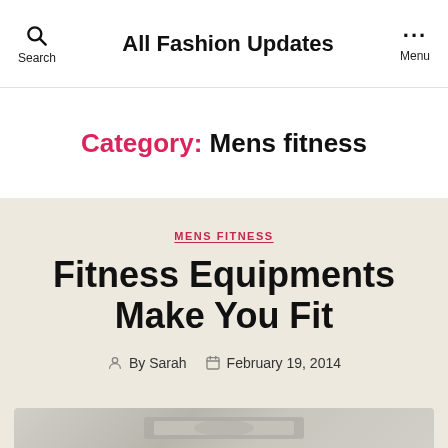All Fashion Updates
Category: Mens fitness
MENS FITNESS
Fitness Equipments Make You Fit
By Sarah   February 19, 2014
[Figure (photo): Partial view of fitness equipment at the bottom of the page]